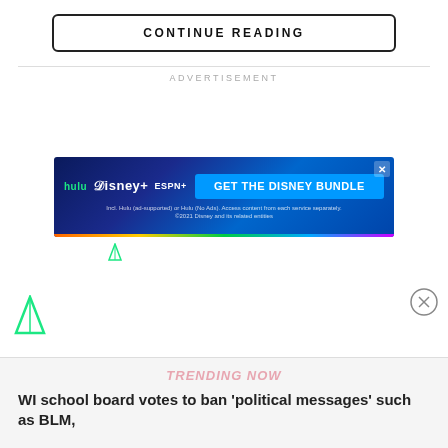CONTINUE READING
ADVERTISEMENT
[Figure (screenshot): Disney Bundle advertisement banner showing Hulu, Disney+, and ESPN+ logos with 'GET THE DISNEY BUNDLE' call to action button. Fine print reads: Incl. Hulu (ad-supported) or Hulu (No Ads). Access content from each service separately. ©2021 Disney and its related entities]
TRENDING NOW
WI school board votes to ban 'political messages' such as BLM,